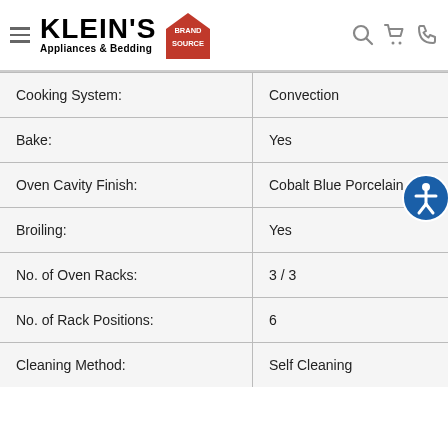[Figure (logo): Klein's Appliances & Bedding Brand Source logo with hamburger menu, search, cart, and phone icons]
| Feature | Value |
| --- | --- |
| Cooking System: | Convection |
| Bake: | Yes |
| Oven Cavity Finish: | Cobalt Blue Porcelain |
| Broiling: | Yes |
| No. of Oven Racks: | 3 / 3 |
| No. of Rack Positions: | 6 |
| Cleaning Method: | Self Cleaning |